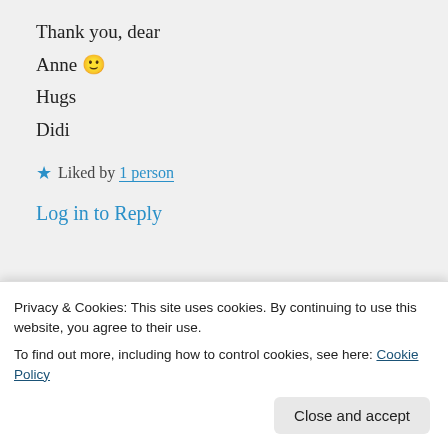Thank you, dear
Anne 🙂
Hugs
Didi
★ Liked by 1 person
Log in to Reply
Advertisements
[Figure (logo): Sensei logo on dark background — white circle with tree icon and 'sensei' text]
Privacy & Cookies: This site uses cookies. By continuing to use this website, you agree to their use.
To find out more, including how to control cookies, see here: Cookie Policy
Close and accept